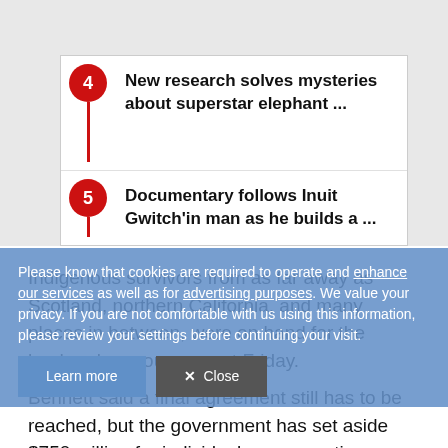4 New research solves mysteries about superstar elephant ...
5 Documentary follows Inuit Gwitch'in man as he builds a ...
Indigenous survivors from as far away as Scotland, northern California, and many places in between, were on hand for the landmark announcement Friday.
Please know that cookies are required to operate and enhance our services as well as for advertising purposes. We value your privacy. If you are not comfortable with us using this information, please review your settings before continuing your visit.
Bennett said a final agreement still has to be reached, but the government has set aside $750 million for individual compensation. They've earmarked another $50 million for a foundation dedicated to reconciliation initiatives.